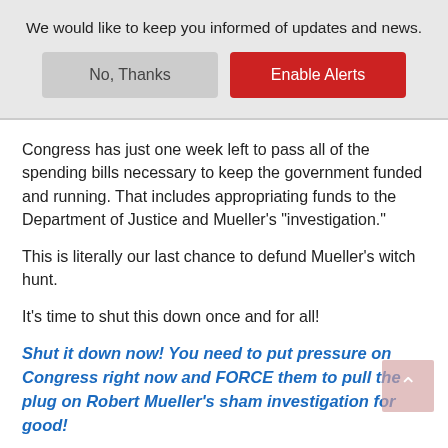We would like to keep you informed of updates and news.
No, Thanks | Enable Alerts
Congress has just one week left to pass all of the spending bills necessary to keep the government funded and running. That includes appropriating funds to the Department of Justice and Mueller's "investigation."
This is literally our last chance to defund Mueller's witch hunt.
It's time to shut this down once and for all!
Shut it down now! You need to put pressure on Congress right now and FORCE them to pull the plug on Robert Mueller's sham investigation for good!
Sincerely,